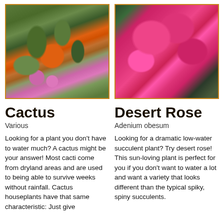[Figure (photo): Photo of various cactus plants with colorful flowers including orange and pink blooms]
[Figure (photo): Photo of Desert Rose (Adenium obesum) with dramatic deep pink/magenta flowers]
Cactus
Desert Rose
Various
Adenium obesum
Looking for a plant you don't have to water much? A cactus might be your answer! Most cacti come from dryland areas and are used to being able to survive weeks without rainfall. Cactus houseplants have that same characteristic: Just give
Looking for a dramatic low-water succulent plant? Try desert rose! This sun-loving plant is perfect for you if you don't want to water a lot and want a variety that looks different than the typical spiky, spiny succulents.